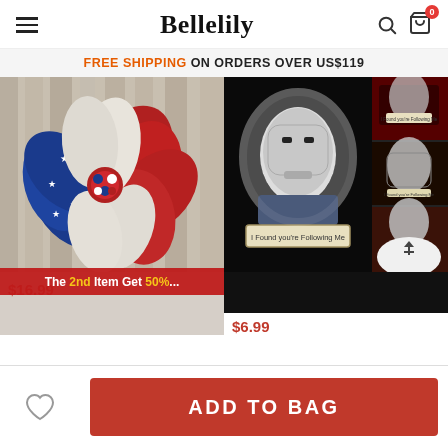Bellelily
FREE SHIPPING ON ORDERS OVER US$119
[Figure (photo): Red, white, and blue patriotic decorative flower/wreath made of mesh ribbon with stars]
The 2nd Item Get 50%...
$16.99
[Figure (photo): Car sticker/decal of Michael Myers face with text 'I Found you're Following Me', shown in multiple views]
$6.99
ADD TO BAG